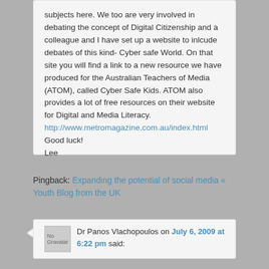subjects here. We too are very involved in debating the concept of Digital Citizenship and a colleague and I have set up a website to inlcude debates of this kind- Cyber safe World. On that site you will find a link to a new resource we have produced for the Australian Teachers of Media (ATOM), called Cyber Safe Kids. ATOM also provides a lot of free resources on their website for Digital and Media Literacy.
http://www.metromagazine.com.au/index.html
Good luck!
Lee
Pingback: Expanding the potential of social media « Youth Blog from the UK
Dr Panos Vlachopoulos on July 6, 2009 at 6:22 pm said: